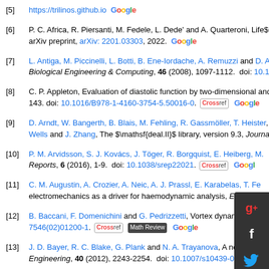[5] https://trilinos.github.io Google
[6] P. C. Africa, R. Piersanti, M. Fedele, L. Dede' and A. Quarteroni, Life$^\mathr... arXiv preprint, arXiv: 2201.03303, 2022. Google
[7] L. Antiga, M. Piccinelli, L. Botti, B. Ene-Iordache, A. Remuzzi and D. A. Steinr... Biological Engineering & Computing, 46 (2008), 1097-1112. doi: 10.1007/s1...
[8] C. P. Appleton, Evaluation of diastolic function by two-dimensional and dopple... 143. doi: 10.1016/B978-1-4160-3754-5.50016-0. [crossref] Google
[9] D. Arndt, W. Bangerth, B. Blais, M. Fehling, R. Gassmöller, T. Heister... Wells and J. Zhang, The $\mathsf{deal.II}$ library, version 9.3, Journa...
[10] P. M. Arvidsson, S. J. Kovács, J. Töger, R. Borgquist, E. Heiberg, M.... Reports, 6 (2016), 1-9. doi: 10.1038/srep22021. [crossref] Google
[11] C. M. Augustin, A. Crozier, A. Neic, A. J. Prassl, E. Karabelas, T. Fe... electromechanics as a driver for haemodynamic analysis, EP Europ...
[12] B. Baccani, F. Domenichini and G. Pedrizzetti, Vortex dynamics in a... 7546(02)01200-1. [crossref] [Math Review] Google
[13] J. D. Bayer, R. C. Blake, G. Plank and N. A. Trayanova, A novel rule-based a... Engineering, 40 (2012), 2243-2254. doi: 10.1007/s10439-012-0593-5. [crossref]
[14] Y. Bazilevs, V. M. Calo, J. A. Cottrell, T. J. R. Hughes, A. Reali and G. Scova... flows, Comput. Methods Appl. Mech. Engrg., 197 (2007), 173-201. doi: 10.1...